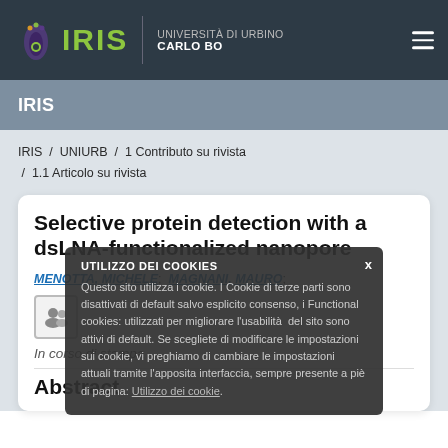IRIS | UNIVERSITÀ DI URBINO CARLO BO
IRIS
IRIS / UNIURB / 1 Contributo su rivista / 1.1 Articolo su rivista
Selective protein detection with a dsLNA-functionalized nanopore
MENOTTA, MICHELE; MAGNANI, MAURO;
In corso di stampa
Abstract
UTILIZZO DEI COOKIES
Questo sito utilizza i cookie. I Cookie di terze parti sono disattivati di default salvo esplicito consenso, i Functional cookies: utilizzati per migliorare l'usabilità del sito sono attivi di default. Se scegliete di modificare le impostazioni sui cookie, vi preghiamo di cambiare le impostazioni attuali tramite l'apposita interfaccia, sempre presente a piè di pagina: Utilizzo dei cookie.